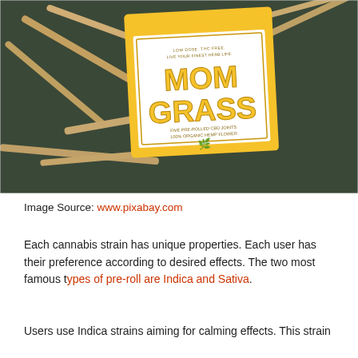[Figure (photo): Photo of a yellow Mom Grass pre-rolled CBD joints box surrounded by pre-rolled joints on a dark green background]
Image Source: www.pixabay.com
Each cannabis strain has unique properties. Each user has their preference according to desired effects. The two most famous types of pre-roll are Indica and Sativa.
Users use Indica strains aiming for calming effects. This strain